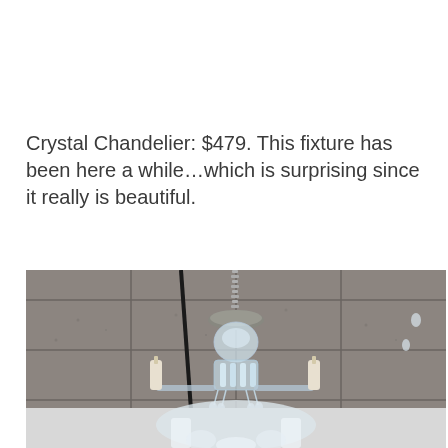Crystal Chandelier: $479. This fixture has been here a while…which is surprising since it really is beautiful.
[Figure (photo): Upward-looking photograph of a crystal chandelier hanging from a drop ceiling. The chandelier has a chrome chain mount, clear crystal body with dangling crystals, and candle-style arms with cream/ivory candle covers. The ceiling tiles are visible in the background. The lower portion of the image shows the bottom of the chandelier with crystals fading to a lighter background.]